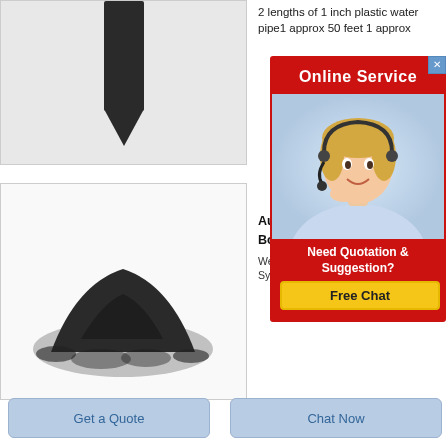[Figure (photo): A dark graphite or carbon arrow/stake pointing downward on a light gray background]
2 lengths of 1 inch plastic water pipe1 approx 50 feet 1 approx
[Figure (infographic): Online Service popup with red background, agent photo, 'Need Quotation & Suggestion?' text, and 'Free Chat' yellow button]
[Figure (photo): A pile of dark black/gray powder on white background]
Aus Boil We d Syste
Get a Quote
Chat Now